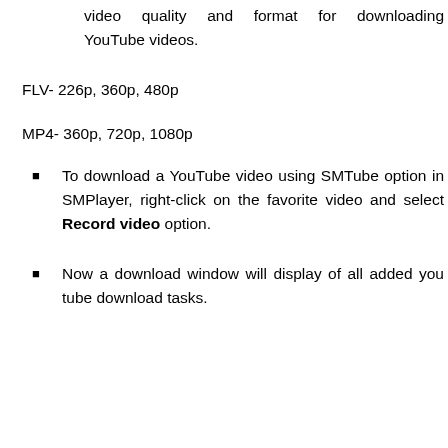video quality and format for downloading YouTube videos.
FLV- 226p, 360p, 480p
MP4- 360p, 720p, 1080p
To download a YouTube video using SMTube option in SMPlayer, right-click on the favorite video and select Record video option.
Now a download window will display of all added you tube download tasks.